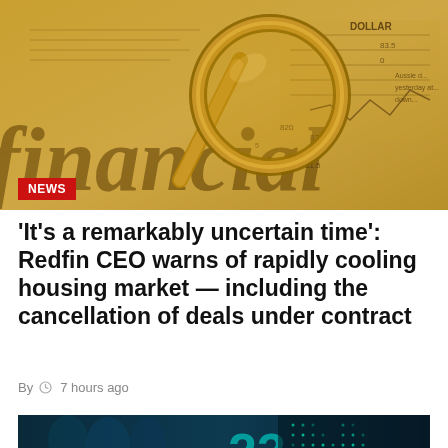[Figure (photo): Close-up photo of a gold magnifying glass resting on a financial newspaper showing stock price data and the word 'financial'. A red NEWS badge is overlaid at bottom left.]
'It's a remarkably uncertain time': Redfin CEO warns of rapidly cooling housing market — including the cancellation of deals under contract
By  🕐 7 hours ago
[Figure (photo): Partial photo of a financial trading floor or screen showing digital numbers and people in a blue-toned image with a large number 23 visible on a display.]